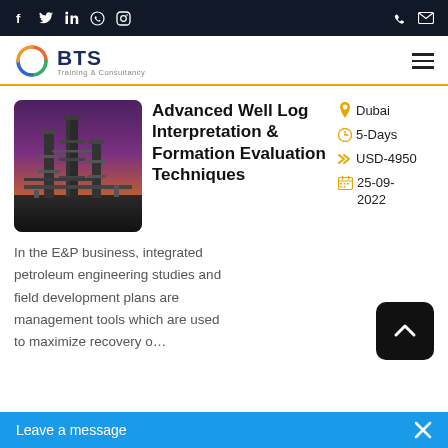BTS Training & Consultancy — navigation bar with social icons (Facebook, Twitter, LinkedIn, WhatsApp, Instagram) and contact icons
[Figure (logo): BTS Training & Consultancy logo — circular multicolor swirl icon with BTS text and 'Training & Consultancy' subtitle]
[Figure (photo): Industrial oil/gas facility with towers and pipework against a purple/orange sky at dusk]
Advanced Well Log Interpretation & Formation Evaluation Techniques
Dubai
5-Days
USD-4950
25-09-2022
In the E&P business, integrated petroleum engineering studies and field development plans are management tools which are used to maximize recovery o…